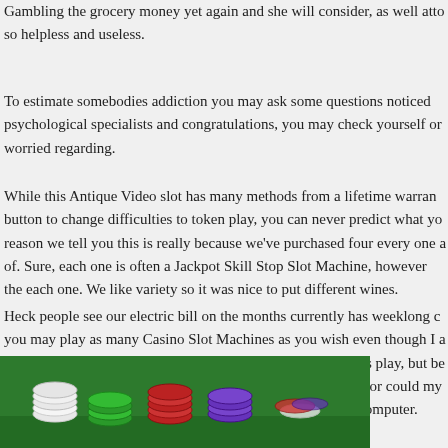Gambling the grocery money yet again and she will consider, as well atto so helpless and useless.
To estimate somebodies addiction you may ask some questions noticed psychological specialists and congratulations, you may check yourself or worried regarding.
While this Antique Video slot has many methods from a lifetime warran button to change difficulties to token play, you can never predict what yo reason we tell you this is really because we've purchased four every one a of. Sure, each one is often a Jackpot Skill Stop Slot Machine, however the each one. We like variety so it was nice to put different wines.
Heck people see our electric bill on the months currently has weeklong c you may play as many Casino Slot Machines as you wish even though I a Stop Slot machine. Not because of its look, not because of its play, but be casino for so quite a few. I could never get on that machine nor could my person to build our collection this had as the part laptop or computer.
[Figure (photo): Photo of colorful casino chips (white, green, red, purple) stacked on a green surface.]